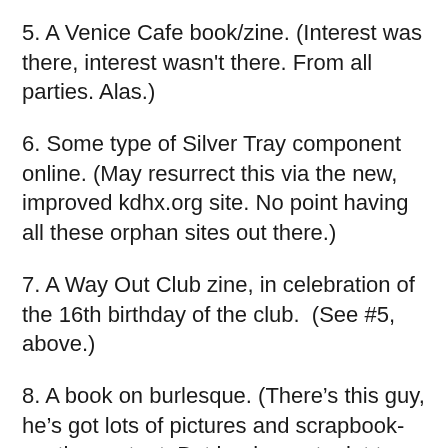5. A Venice Cafe book/zine. (Interest was there, interest wasn't there. From all parties. Alas.)
6. Some type of Silver Tray component online. (May resurrect this via the new, improved kdhx.org site. No point having all these orphan sites out there.)
7. A Way Out Club zine, in celebration of the 16th birthday of the club.  (See #5, above.)
8. A book on burlesque. (There's this guy, he's got lots of pictures and scrapbook-worthy content. But books cost a lot to make. And, honestly, I ain't that into the burlesque scene.)